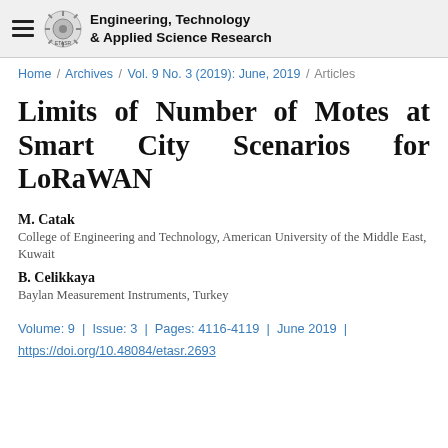Engineering, Technology & Applied Science Research
Home / Archives / Vol. 9 No. 3 (2019): June, 2019 / Articles
Limits of Number of Motes at Smart City Scenarios for LoRaWAN
M. Catak
College of Engineering and Technology, American University of the Middle East, Kuwait
B. Celikkaya
Baylan Measurement Instruments, Turkey
Volume: 9 | Issue: 3 | Pages: 4116-4119 | June 2019 | https://doi.org/10.48084/etasr.2693